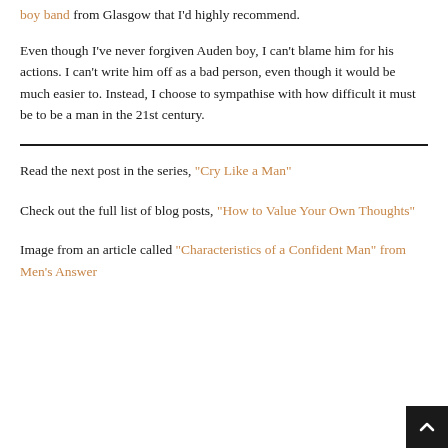boy band from Glasgow that I'd highly recommend.
Even though I've never forgiven Auden boy, I can't blame him for his actions. I can't write him off as a bad person, even though it would be much easier to. Instead, I choose to sympathise with how difficult it must be to be a man in the 21st century.
Read the next post in the series, "Cry Like a Man"
Check out the full list of blog posts, "How to Value Your Own Thoughts"
Image from an article called "Characteristics of a Confident Man" from Men's Answer